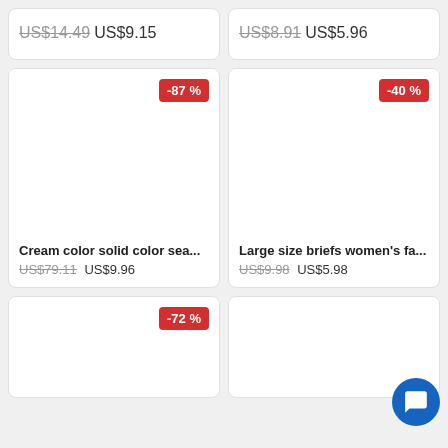US$14.49 US$9.15
US$8.91 US$5.96
-87 %
-40 %
Cream color solid color sea...
US$79.11 US$9.96
Large size briefs women's fa...
US$9.98 US$5.98
-72 %